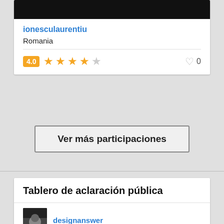[Figure (screenshot): Black bar at top of card]
ionesculaurentiu
Romania
4.0 ★★★★☆   ♡ 0
Ver más participaciones
Tablero de aclaración pública
[Figure (photo): User avatar thumbnail for designanswer]
designanswer
Congrats!